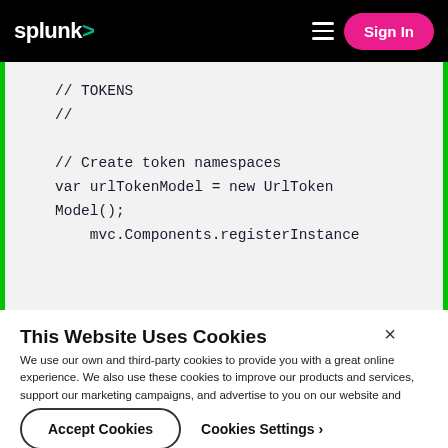splunk> Sign In
[Figure (screenshot): Code block showing JavaScript token namespace code: // TOKENS
//
// Create token namespaces
var urlTokenModel = new UrlTokenModel();
mvc.Components.registerInstance]
This Website Uses Cookies
We use our own and third-party cookies to provide you with a great online experience. We also use these cookies to improve our products and services, support our marketing campaigns, and advertise to you on our website and other websites. Some cookies may continue to collect information after you have left our website. Learn more here ›
Accept Cookies
Cookies Settings ›